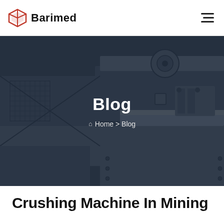Barimed
[Figure (photo): Dark-toned industrial mining/crushing machinery equipment with overlaid dark blue-gray transparent overlay showing Blog page header]
Blog
Home > Blog
Crushing Machine In Mining